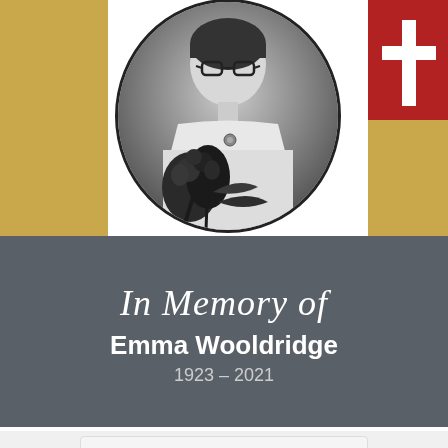[Figure (photo): Black and white oval-framed portrait photo of an elderly woman wearing glasses, holding dark roses/flowers, with a brooch/pin visible on her collar]
In Memory of
Emma Wooldridge
1923 – 2021
Share A Memory